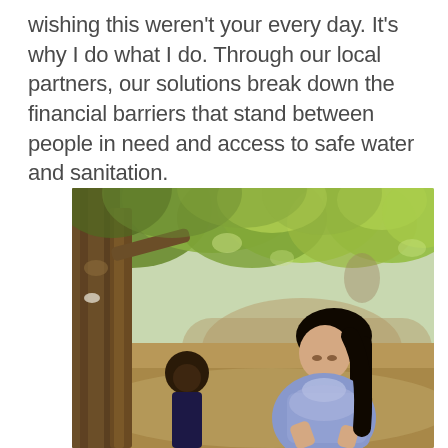wishing this weren't your every day. It's why I do what I do. Through our local partners, our solutions break down the financial barriers that stand between people in need and access to safe water and sanitation.
[Figure (photo): Outdoor scene with trees and dirt path. A woman with dark hair wearing a blue patterned top crouches down, and a young child stands near her, surrounded by trees and green foliage in the background.]